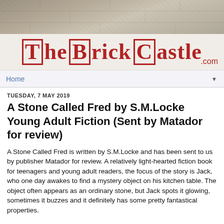[Figure (photo): Stone/brick wall texture background image at top of page]
The Brick Castle .com
Home
TUESDAY, 7 MAY 2019
A Stone Called Fred by S.M.Locke Young Adult Fiction (Sent by Matador for review)
A Stone Called Fred is written by S.M.Locke and has been sent to us by publisher Matador for review. A relatively light-hearted fiction book for teenagers and young adult readers, the focus of the story is Jack, who one day awakes to find a mystery object on his kitchen table. The object often appears as an ordinary stone, but Jack spots it glowing, sometimes it buzzes and it definitely has some pretty fantastical properties.